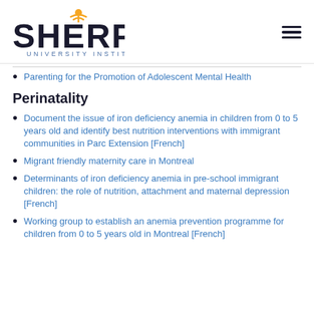[Figure (logo): SHERPA University Institute logo with orange antenna icon above the letter A]
Parenting for the Promotion of Adolescent Mental Health
Perinatality
Document the issue of iron deficiency anemia in children from 0 to 5 years old and identify best nutrition interventions with immigrant communities in Parc Extension [French]
Migrant friendly maternity care in Montreal
Determinants of iron deficiency anemia in pre-school immigrant children: the role of nutrition, attachment and maternal depression [French]
Working group to establish an anemia prevention programme for children from 0 to 5 years old in Montreal [French]